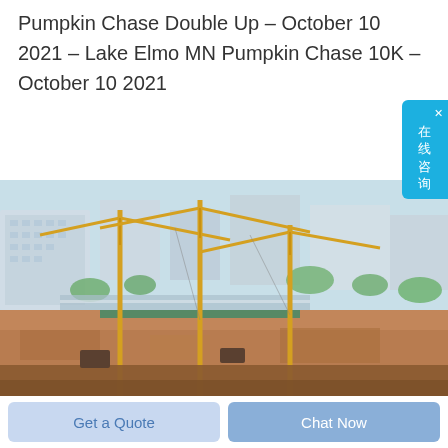Pumpkin Chase Double Up – October 10 2021 – Lake Elmo MN Pumpkin Chase 10K – October 10 2021
[Figure (photo): Aerial view of an urban construction site with multiple yellow tower cranes, excavated earth, and surrounding city buildings with roads and trees.]
在线咨询
Get a Quote
Chat Now